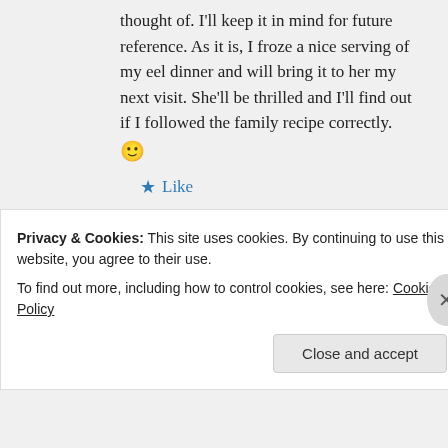thought of. I'll keep it in mind for future reference. As it is, I froze a nice serving of my eel dinner and will bring it to her my next visit. She'll be thrilled and I'll find out if I followed the family recipe correctly. 🙂
★ Like
↪ Reply
Marina@Picnic at Marina on
Privacy & Cookies: This site uses cookies. By continuing to use this website, you agree to their use.
To find out more, including how to control cookies, see here: Cookie Policy
Close and accept